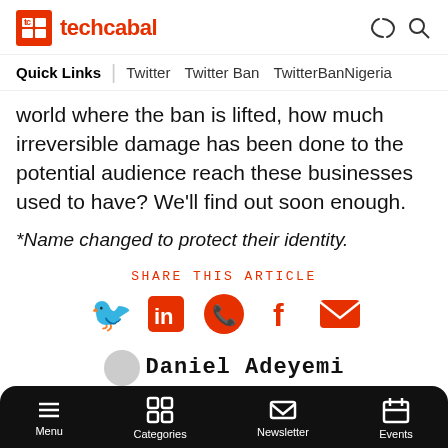techcabal
Quick Links | Twitter | Twitter Ban | TwitterBanNigeria
world where the ban is lifted, how much irreversible damage has been done to the potential audience reach these businesses used to have? We'll find out soon enough.
*Name changed to protect their identity.
Share this article
Daniel Adeyemi
@danieladeyemi